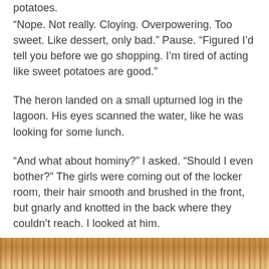potatoes.
“Nope. Not really. Cloying. Overpowering. Too sweet. Like dessert, only bad.” Pause. “Figured I’d tell you before we go shopping. I’m tired of acting like sweet potatoes are good.”
The heron landed on a small upturned log in the lagoon. His eyes scanned the water, like he was looking for some lunch.
“And what about hominy?” I asked. “Should I even bother?” The girls were coming out of the locker room, their hair smooth and brushed in the front, but gnarly and knotted in the back where they couldn’t reach. I looked at him.
“Why don’t you just let me go shopping,” he said.
[Figure (photo): Close-up photo of braided or woven rope/straw colored material at the bottom of the page]